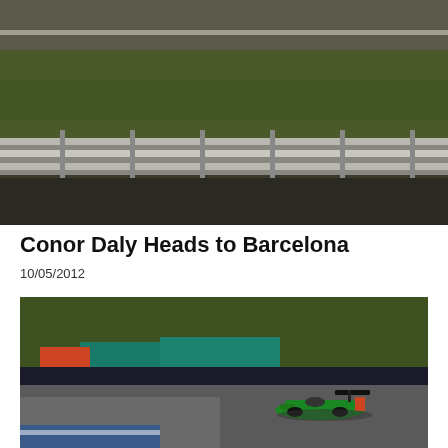[Figure (photo): Top-down view of a motorsport racing circuit showing banked asphalt track, grass runoff area, and metal crash barriers/guardrails along the edge.]
Conor Daly Heads to Barcelona
10/05/2012
[Figure (photo): A green Formula racing car taking a corner on a racing circuit, with colorful painted barriers (orange, teal/green) visible in the background.]
Do you like cookies? Please subscribe to our posts! Yummy Updates
Say YES to iberianmph.com TODAY!